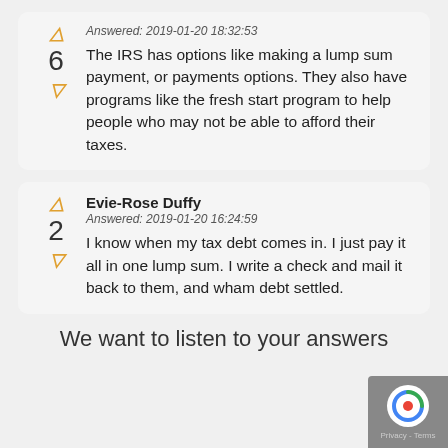Answered: 2019-01-20 18:32:53
The IRS has options like making a lump sum payment, or payments options. They also have programs like the fresh start program to help people who may not be able to afford their taxes.
Evie-Rose Duffy
Answered: 2019-01-20 16:24:59
I know when my tax debt comes in. I just pay it all in one lump sum. I write a check and mail it back to them, and wham debt settled.
We want to listen to your answers